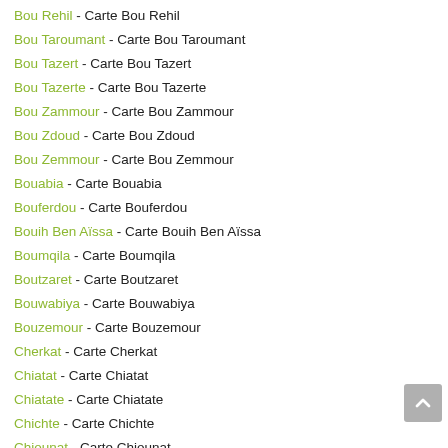Bou Rehil - Carte Bou Rehil
Bou Taroumant - Carte Bou Taroumant
Bou Tazert - Carte Bou Tazert
Bou Tazerte - Carte Bou Tazerte
Bou Zammour - Carte Bou Zammour
Bou Zdoud - Carte Bou Zdoud
Bou Zemmour - Carte Bou Zemmour
Bouabia - Carte Bouabia
Bouferdou - Carte Bouferdou
Bouih Ben Aïssa - Carte Bouih Ben Aïssa
Boumqila - Carte Boumqila
Boutzaret - Carte Boutzaret
Bouwabiya - Carte Bouwabiya
Bouzemour - Carte Bouzemour
Cherkat - Carte Cherkat
Chiatat - Carte Chiatat
Chiatate - Carte Chiatate
Chichte - Carte Chichte
Chiounat - Carte Chiounat
Chiounate - Carte Chiounate
Chorfa - Carte Chorfa
Chouaker - Carte Chouaker
Chouifat - Carte Chouifat
Chourfa - Carte Chourfa
Dar Aït Brahim Ou Said - Carte Dar Aït Brahim Ou